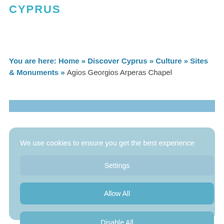CYPRUS
You are here: Home » Discover Cyprus » Culture » Sites & Monuments » Agios Georgios Arperas Chapel
[Figure (photo): Partial image strip showing a photograph of Agios Georgios Arperas Chapel]
We use cookies to ensure you get the best experience
Settings
Allow All
Disable All